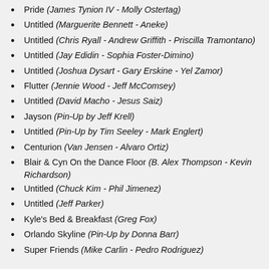Pride (James Tynion IV - Molly Ostertag)
Untitled (Marguerite Bennett - Aneke)
Untitled (Chris Ryall - Andrew Griffith - Priscilla Tramontano)
Untitled (Jay Edidin - Sophia Foster-Dimino)
Untitled (Joshua Dysart - Gary Erskine - Yel Zamor)
Flutter (Jennie Wood - Jeff McComsey)
Untitled (David Macho - Jesus Saiz)
Jayson (Pin-Up by Jeff Krell)
Untitled (Pin-Up by Tim Seeley - Mark Englert)
Centurion (Van Jensen - Alvaro Ortiz)
Blair & Cyn On the Dance Floor (B. Alex Thompson - Kevin Richardson)
Untitled (Chuck Kim - Phil Jimenez)
Untitled (Jeff Parker)
Kyle's Bed & Breakfast (Greg Fox)
Orlando Skyline (Pin-Up by Donna Barr)
Super Friends (Mike Carlin - Pedro Rodriguez)